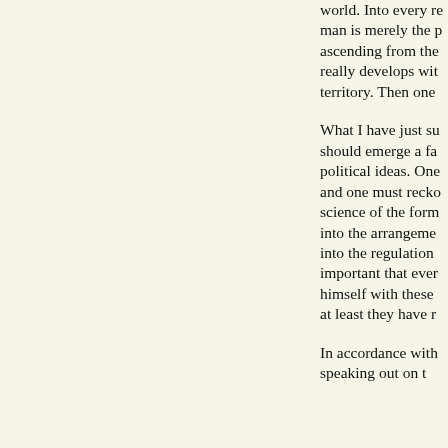world. Into every re man is merely the p ascending from the really develops wit territory. Then one
What I have just su should emerge a fa political ideas. One and one must recko science of the form into the arrangeme into the regulation important that ever himself with these at least they have r
In accordance with speaking out on t